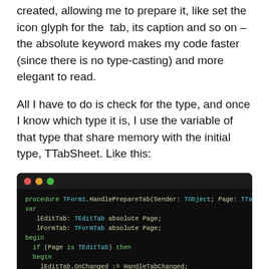created, allowing me to prepare it, like set the icon glyph for the tab, its caption and so on – the absolute keyword makes my code faster (since there is no type-casting) and more elegant to read.
All I have to do is check for the type, and once I know which type it is, I use the variable of that type that share memory with the initial type, TTabSheet. Like this:
[Figure (screenshot): Dark-themed code editor window showing Pascal/Delphi procedure TForm1.HandlePrepareTab with var declarations using absolute keyword and if/then/begin/end blocks for TEditTab and TFormTab type checking.]